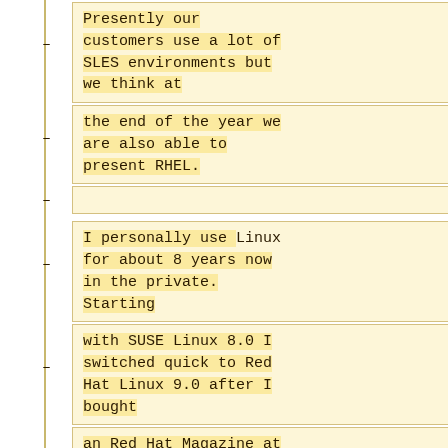Presently our customers use a lot of SLES environments but we think at
the end of the year we are also able to present RHEL.
I personally use Linux for about 8 years now in the private. Starting
with SUSE Linux 8.0 I switched quick to Red Hat Linux 9.0 after I bought
an Red Hat Magazine at the store and I was fascinated about things